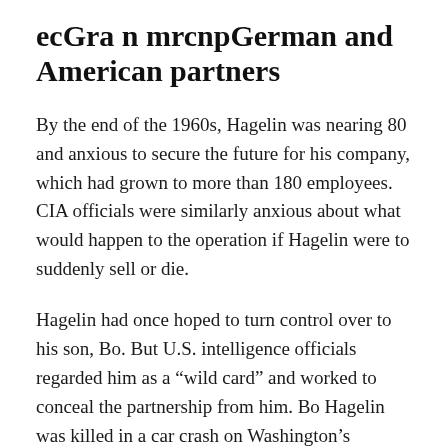ecGra n mrcnpGerman and American partners
By the end of the 1960s, Hagelin was nearing 80 and anxious to secure the future for his company, which had grown to more than 180 employees. CIA officials were similarly anxious about what would happen to the operation if Hagelin were to suddenly sell or die.
Hagelin had once hoped to turn control over to his son, Bo. But U.S. intelligence officials regarded him as a “wild card” and worked to conceal the partnership from him. Bo Hagelin was killed in a car crash on Washington’s Beltway in 1970. There were no indications of foul play.